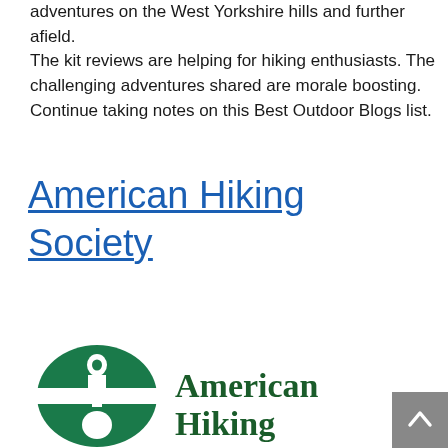adventures on the West Yorkshire hills and further afield. The kit reviews are helping for hiking enthusiasts. The challenging adventures shared are morale boosting. Continue taking notes on this Best Outdoor Blogs list.
American Hiking Society
[Figure (logo): American Hiking Society logo — green oval with stylized hiker figure, text 'American Hiking' in dark green serif font]